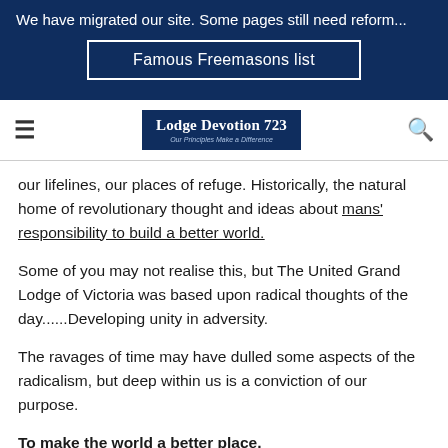We have migrated our site. Some pages still need reform...
[Figure (other): Famous Freemasons list button/banner]
[Figure (logo): Lodge Devotion 723 - Our Principles Make a Difference logo with navigation hamburger menu and search icon]
our lifelines, our places of refuge. Historically, the natural home of revolutionary thought and ideas about mans' responsibility to build a better world.
Some of you may not realise this, but The United Grand Lodge of Victoria was based upon radical thoughts of the day......Developing unity in adversity.
The ravages of time may have dulled some aspects of the radicalism, but deep within us is a conviction of our purpose.
To make the world a better place,